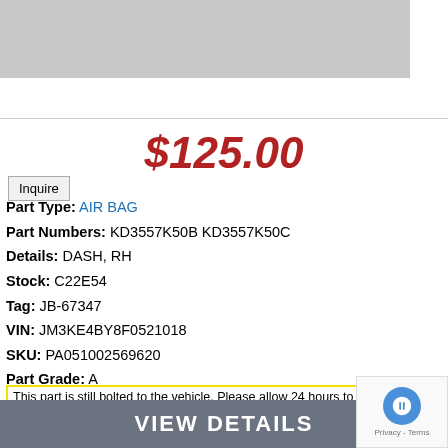[Figure (photo): Gray image/photo placeholder at top]
Inquire
$125.00
Part Type: AIR BAG
Part Numbers: KD3557K50B KD3557K50C
Details: DASH, RH
Stock: C22E54
Tag: JB-67347
VIN: JM3KE4BY8F0521018
SKU: PA051002569620
Part Grade: A
This part is still bolted to the vehicle. Please allow 24 hours to remove.
VIEW DETAILS